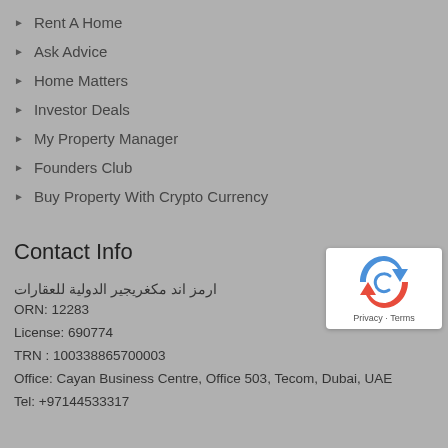Rent A Home
Ask Advice
Home Matters
Investor Deals
My Property Manager
Founders Club
Buy Property With Crypto Currency
Contact Info
ارمز اند مكغريجير الدولية للعقارات
ORN: 12283
License: 690774
TRN : 100338865700003
Office: Cayan Business Centre, Office 503, Tecom, Dubai, UAE
Tel: +97144533317